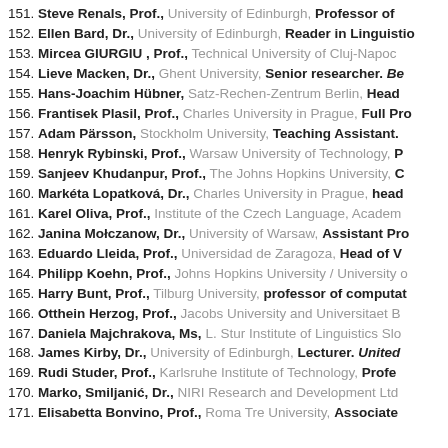151. Steve Renals, Prof., University of Edinburgh, Professor of
152. Ellen Bard, Dr., University of Edinburgh, Reader in Linguistio
153. Mircea GIURGIU , Prof., Technical University of Cluj-Napoc
154. Lieve Macken, Dr., Ghent University, Senior researcher. Be
155. Hans-Joachim Hübner, Satz-Rechen-Zentrum Berlin, Head
156. Frantisek Plasil, Prof., Charles University in Prague, Full Pro
157. Adam Pärsson, Stockholm University, Teaching Assistant.
158. Henryk Rybinski, Prof., Warsaw University of Technology, P
159. Sanjeev Khudanpur, Prof., The Johns Hopkins University, C
160. Markéta Lopatková, Dr., Charles University in Prague, head
161. Karel Oliva, Prof., Institute of the Czech Language, Academ
162. Janina Mołczanow, Dr., University of Warsaw, Assistant Pro
163. Eduardo Lleida, Prof., Universidad de Zaragoza, Head of V
164. Philipp Koehn, Prof., Johns Hopkins University / University o
165. Harry Bunt, Prof., Tilburg University, professor of computat
166. Otthein Herzog, Prof., Jacobs University and Universitaet B
167. Daniela Majchrakova, Ms, L. Stur Institute of Linguistics Slo
168. James Kirby, Dr., University of Edinburgh, Lecturer. United
169. Rudi Studer, Prof., Karlsruhe Institute of Technology, Profe
170. Marko, Smiljanić, Dr., NIRI Research and Development Ltd
171. Elisabetta Bonvino, Prof., Roma Tre University, Associate